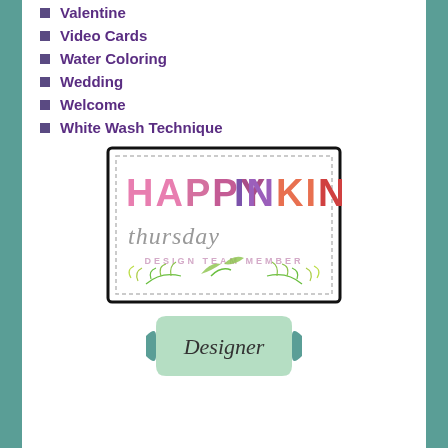Valentine
Video Cards
Water Coloring
Wedding
Welcome
White Wash Technique
[Figure (logo): Happy Inkin' Thursday Design Team Member badge with colorful block letters, italic script 'thursday', and green decorative leaf branches]
[Figure (illustration): Mint green decorative badge shape with italic text 'Designer']